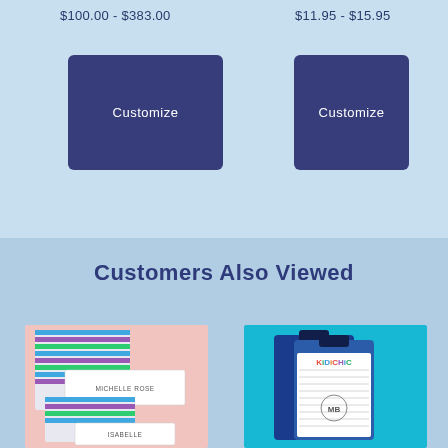$100.00 - $383.00
$11.95 - $15.95
Customize
Customize
Customers Also Viewed
[Figure (photo): Stationery items with colorful chevron patterns on pink background, with name labels reading MICHELLE ROSE and ISABELLE]
[Figure (photo): KiDiCHiC branded clipboards in blue and grey on bright blue background, with monogram notepad]